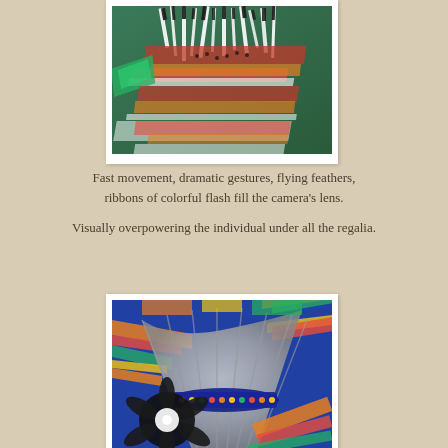[Figure (photo): Blurred motion photograph of a Native American fancy dancer in colorful regalia with flying feathers, ribbons, and fringe in white, red, green, orange, and black colors against a green background.]
Fast movement, dramatic gestures, flying feathers, ribbons of colorful flash fill the camera's lens.

Visually overpowering the individual under all the regalia.
[Figure (photo): Close-up photograph of colorful Native American powwow regalia showing a large fan headdress with blue, orange, red, green feathers and beadwork against a blurred background.]